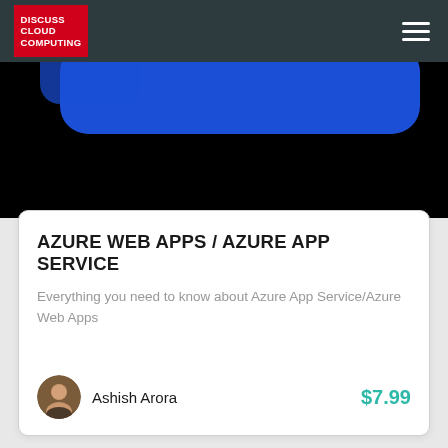DISCUSS CLOUD COMPUTING
[Figure (screenshot): Hero image showing blue rounded rectangle UI element on a dark/black background]
AZURE WEB APPS / AZURE APP SERVICE
Everything you need to know about Azure App Service/Azure Web Apps
Ashish Arora
$7.99